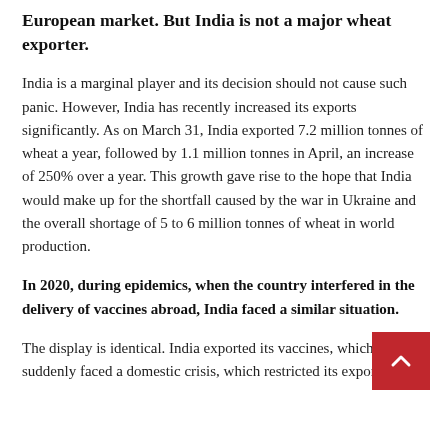European market. But India is not a major wheat exporter.
India is a marginal player and its decision should not cause such panic. However, India has recently increased its exports significantly. As on March 31, India exported 7.2 million tonnes of wheat a year, followed by 1.1 million tonnes in April, an increase of 250% over a year. This growth gave rise to the hope that India would make up for the shortfall caused by the war in Ukraine and the overall shortage of 5 to 6 million tonnes of wheat in world production.
In 2020, during epidemics, when the country interfered in the delivery of vaccines abroad, India faced a similar situation.
The display is identical. India exported its vaccines, which suddenly faced a domestic crisis, which restricted its exports.